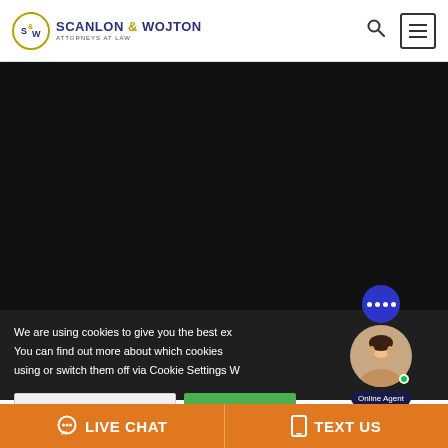Scanlon & Wojton Attorneys at Law
[Figure (screenshot): Black hero/video area background]
We are using cookies to give you the best experience on our website. You can find out more about which cookies we are using or switch them off via Cookie Settings Widget.
[Figure (photo): Online chat agent avatar - smiling woman with green online indicator dot and blue chat bubble icon]
LIVE CHAT
TEXT US